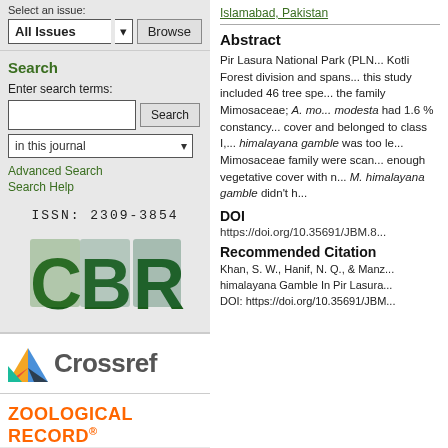Select an issue:
All Issues  Browse
Search
Enter search terms:
in this journal
Advanced Search
Search Help
ISSN: 2309-3854
[Figure (logo): CBR logo with nature-textured letters]
[Figure (logo): Crossref logo with colorful geometric icon]
ZOOLOGICAL RECORD®
Islamabad, Pakistan
Abstract
Pir Lasura National Park (PLN... Kotli Forest division and spans... this study included 46 tree spe... the family Mimosaceae; A. mo... modesta had 1.6 % constancy... cover and belonged to class I,... himalayana gamble was too le... Mimosaceae family were scan... enough vegetative cover with n... M. himalayana gamble didn't h...
DOI
https://doi.org/10.35691/JBM.8...
Recommended Citation
Khan, S. W., Hanif, N. Q., & Manz... himalayana Gamble In Pir Lasura... DOI: https://doi.org/10.35691/JBM...